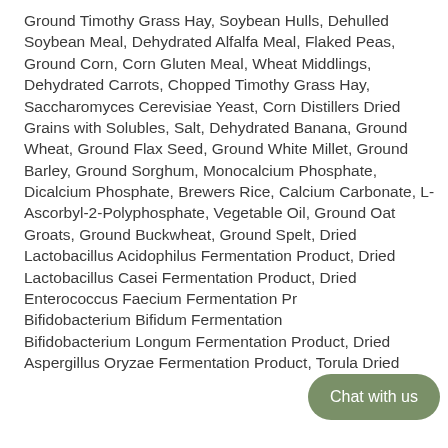Ground Timothy Grass Hay, Soybean Hulls, Dehulled Soybean Meal, Dehydrated Alfalfa Meal, Flaked Peas, Ground Corn, Corn Gluten Meal, Wheat Middlings, Dehydrated Carrots, Chopped Timothy Grass Hay, Saccharomyces Cerevisiae Yeast, Corn Distillers Dried Grains with Solubles, Salt, Dehydrated Banana, Ground Wheat, Ground Flax Seed, Ground White Millet, Ground Barley, Ground Sorghum, Monocalcium Phosphate, Dicalcium Phosphate, Brewers Rice, Calcium Carbonate, L-Ascorbyl-2-Polyphosphate, Vegetable Oil, Ground Oat Groats, Ground Buckwheat, Ground Spelt, Dried Lactobacillus Acidophilus Fermentation Product, Dried Lactobacillus Casei Fermentation Product, Dried Enterococcus Faecium Fermentation Product, Dried Bifidobacterium Bifidum Fermentation Product, Dried Bifidobacterium Longum Fermentation Product, Dried Aspergillus Oryzae Fermentation Product, Torula Dried
[Figure (other): Chat with us button overlay — a rounded pill-shaped button with olive/sage green background and white text reading 'Chat with us']